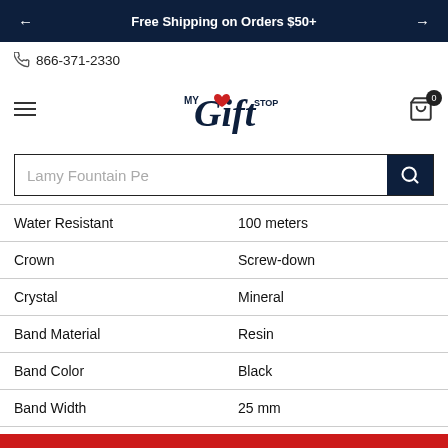Free Shipping on Orders $50+
866-371-2330
[Figure (logo): My Gift Stop logo with heart graphic]
Lamy Fountain Pe (search bar)
| Attribute | Value |
| --- | --- |
| Water Resistant | 100 meters |
| Crown | Screw-down |
| Crystal | Mineral |
| Band Material | Resin |
| Band Color | Black |
| Band Width | 25 mm |
| Clasp Type | Buckle |